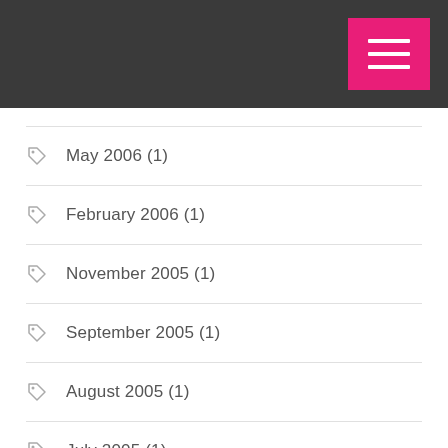May 2006 (1)
February 2006 (1)
November 2005 (1)
September 2005 (1)
August 2005 (1)
July 2005 (1)
May 2005 (1)
April 2005 (1)